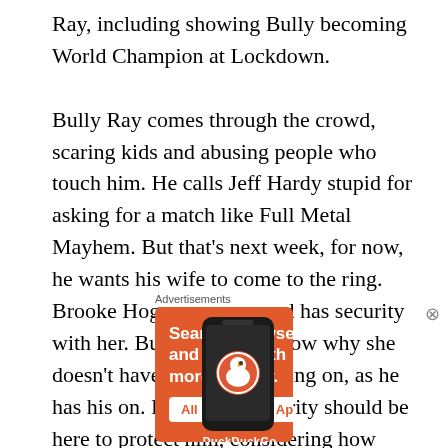Ray, including showing Bully becoming World Champion at Lockdown.

Bully Ray comes through the crowd, scaring kids and abusing people who touch him. He calls Jeff Hardy stupid for asking for a match like Full Metal Mayhem. But that's next week, for now, he wants his wife to come to the ring. Brooke Hogan answers and has security with her. Bully wants to know why she doesn't have her wedding ring on, as he has his on. Bully says security should be here to protect him, considering how crazy
[Figure (infographic): DuckDuckGo advertisement banner with orange background. Text reads: 'Search, browse, and email with more privacy. All in One Free App' with a phone graphic showing the DuckDuckGo app and logo.]